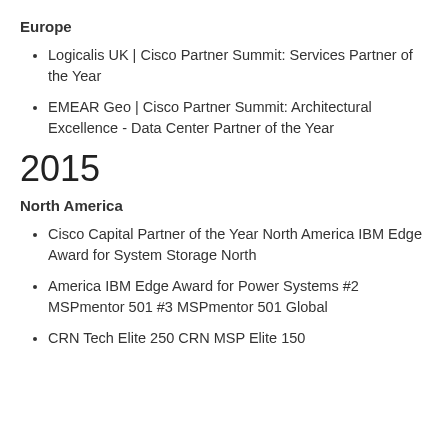Europe
Logicalis UK | Cisco Partner Summit: Services Partner of the Year
EMEAR Geo | Cisco Partner Summit: Architectural Excellence - Data Center Partner of the Year
2015
North America
Cisco Capital Partner of the Year North America IBM Edge Award for System Storage North
America IBM Edge Award for Power Systems #2 MSPmentor 501 #3 MSPmentor 501 Global
CRN Tech Elite 250 CRN MSP Elite 150